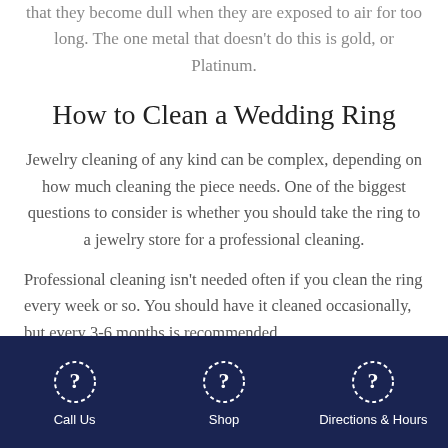that they become dull when they are exposed to air for too long. The one metal that doesn't do this is gold, or Platinum.
How to Clean a Wedding Ring
Jewelry cleaning of any kind can be complex, depending on how much cleaning the piece needs. One of the biggest questions to consider is whether you should take the ring to a jewelry store for a professional cleaning.
Professional cleaning isn't needed often if you clean the ring every week or so. You should have it cleaned occasionally, but every 3-6 months is recommended
Call Us   Shop   Directions & Hours